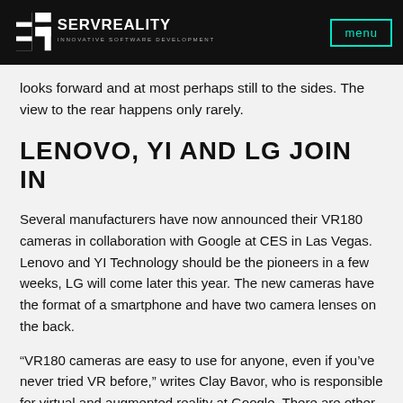SERVREALITY — INNOVATIVE SOFTWARE DEVELOPMENT | menu
looks forward and at most perhaps still to the sides. The view to the rear happens only rarely.
LENOVO, YI AND LG JOIN IN
Several manufacturers have now announced their VR180 cameras in collaboration with Google at CES in Las Vegas. Lenovo and YI Technology should be the pioneers in a few weeks, LG will come later this year. The new cameras have the format of a smartphone and have two camera lenses on the back.
“VR180 cameras are easy to use for anyone, even if you’ve never tried VR before,” writes Clay Bavor, who is responsible for virtual and augmented reality at Google. There are other VR cameras for consumers, but the new VR180 devices took sharper shots and even filmed and